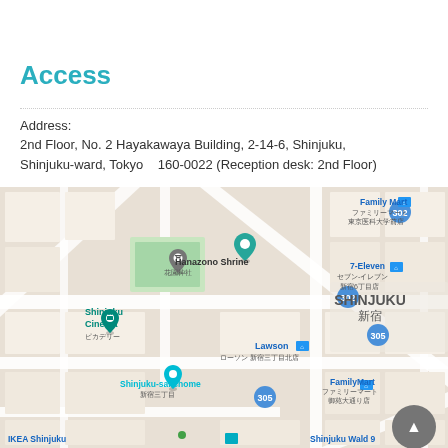Access
Address:
2nd Floor, No. 2 Hayakawaya Building, 2-14-6, Shinjuku, Shinjuku-ward, Tokyo   160-0022 (Reception desk: 2nd Floor)
[Figure (map): Google Maps view of Shinjuku area in Tokyo, showing Hanazono Shrine, Shinjuku Cinema, Lawson, Family Mart, 7-Eleven, Shinjuku-sanchome station, IKEA Shinjuku, Shinjuku Wald 9, and route numbers 302, 305.]